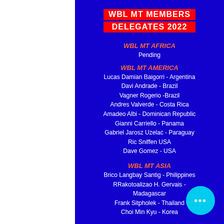WBL MT MEMBERS DELEGATES 2022
WBL MT AFRICA
Pending
WBL MT AMERICA
Lucas Damian Baigorri - Argentina
Davi Andrade - Brazil
Vagner Rogerio -Brazil
Andres Valverde - Costa Rica
Amadeo Albi - Dominican Republic
Gianni Carriello - Panama
Gabriel Jarosz Uzelac - Paraguay
Ric Sniffen USA
Dave Gomez - USA
WBL MT ASIA
Brico Langbay Santig - Philippines
RRakotoalizao H. Gervais - Madagascar
Frank Sitpholek - Thailand
Choi Min Kyu - Korea
WBL MT EUROPE
Alfred Calero - Andorra
Arezki Chayem - France